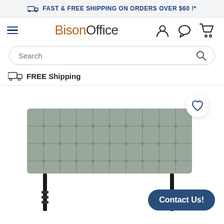FAST & FREE SHIPPING ON ORDERS OVER $60 !*
[Figure (logo): BisonOffice logo with hamburger menu and nav icons (user, chat, cart)]
Search
FREE Shipping
[Figure (photo): Gray tufted upholstered headboard with black metal legs on white background, with heart wishlist button overlay]
Contact Us!